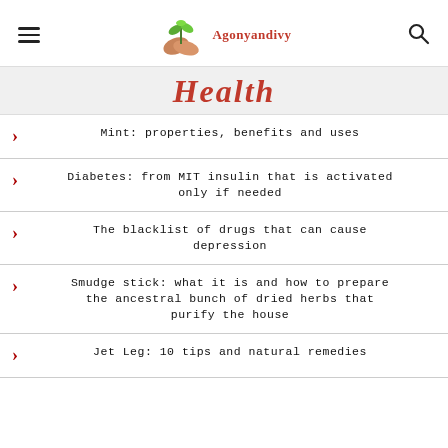Agonyandivy
Health
Mint: properties, benefits and uses
Diabetes: from MIT insulin that is activated only if needed
The blacklist of drugs that can cause depression
Smudge stick: what it is and how to prepare the ancestral bunch of dried herbs that purify the house
Jet Leg: 10 tips and natural remedies